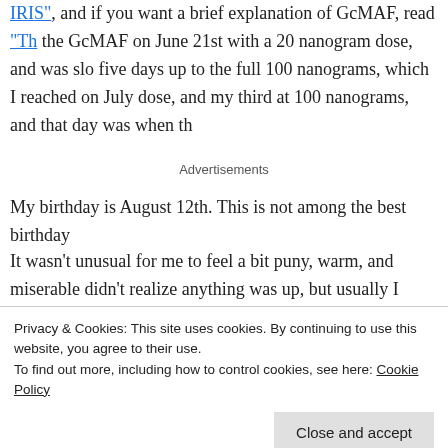IRIS", and if you want a brief explanation of GcMAF, read "Th the GcMAF on June 21st with a 20 nanogram dose, and was slo five days up to the full 100 nanograms, which I reached on July dose, and my third at 100 nanograms, and that day was when th
Advertisements
My birthday is August 12th. This is not among the best birthday
It wasn't unusual for me to feel a bit puny, warm, and miserable didn't realize anything was up, but usually I would feel markedly
Privacy & Cookies: This site uses cookies. By continuing to use this website, you agree to their use.
To find out more, including how to control cookies, see here: Cookie Policy
Close and accept
that